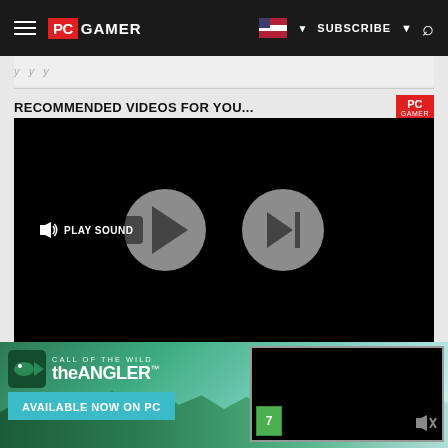PC GAMER | SUBSCRIBE | Search
y   y  y
RECOMMENDED VIDEOS FOR YOU...
[Figure (screenshot): Video player with black background showing play button (large circular grey button with play arrow) and skip/next button (large circular grey button with skip-forward icon). Bottom-left shows a 'PLAY SOUND' button with speaker icon.]
[Figure (screenshot): Advertisement banner for 'Call of the Wild: the ANGLER' game. Left side shows game logo with fish icon and text 'CALL OF THE WILD theANGLER TM', below is a teal button saying 'AVAILABLE NOW ON PC'. Background is a forest/mountain lake scene. Right side shows a mini black video player with a PEGI 7 rating badge and a mute speaker icon.]